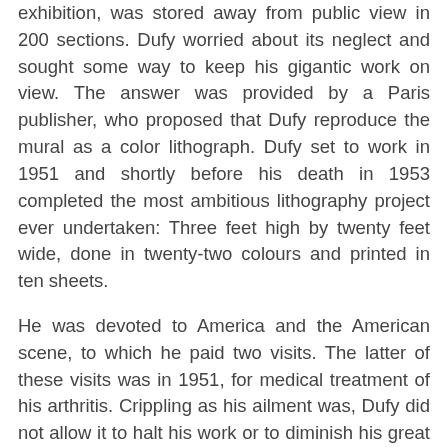exhibition, was stored away from public view in 200 sections. Dufy worried about its neglect and sought some way to keep his gigantic work on view. The answer was provided by a Paris publisher, who proposed that Dufy reproduce the mural as a color lithograph. Dufy set to work in 1951 and shortly before his death in 1953 completed the most ambitious lithography project ever undertaken: Three feet high by twenty feet wide, done in twenty-two colours and printed in ten sheets.
He was devoted to America and the American scene, to which he paid two visits. The latter of these visits was in 1951, for medical treatment of his arthritis. Crippling as his ailment was, Dufy did not allow it to halt his work or to diminish his great joy in life. Treatment of his arthritis by injecting cortisone improved his condition so much that he was able to return to his farmhouse in Provence where he painted several hours a day. He died in 1953 at the